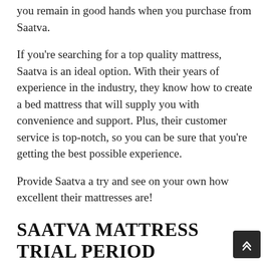you remain in good hands when you purchase from Saatva.
If you're searching for a top quality mattress, Saatva is an ideal option. With their years of experience in the industry, they know how to create a bed mattress that will supply you with convenience and support. Plus, their customer service is top-notch, so you can be sure that you're getting the best possible experience.
Provide Saatva a try and see on your own how excellent their mattresses are!
SAATVA MATTRESS TRIAL PERIOD
Blog about the Saatva Mattress trial duration and service warranty.
Saatva uses a generous trial duration that lasts for